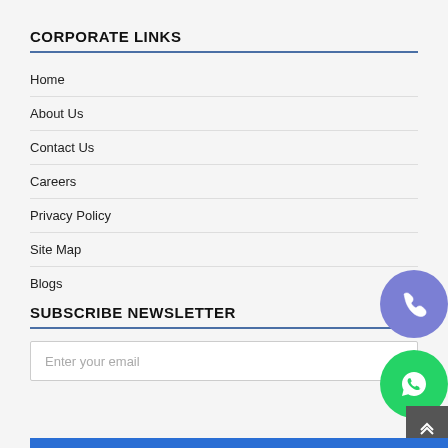CORPORATE LINKS
Home
About Us
Contact Us
Careers
Privacy Policy
Site Map
Blogs
SUBSCRIBE NEWSLETTER
Enter your email
[Figure (infographic): Phone call button (purple circle with phone icon) and WhatsApp button (green circle with WhatsApp icon) and scroll-to-top button (dark grey square with up arrows)]